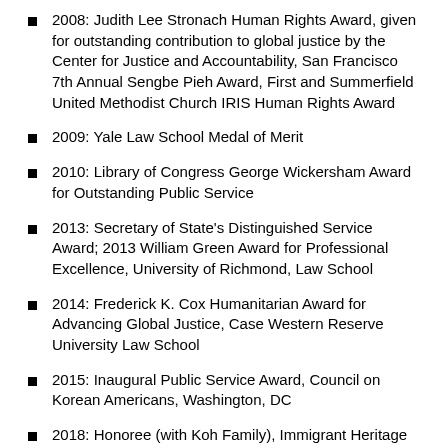2008: Judith Lee Stronach Human Rights Award, given for outstanding contribution to global justice by the Center for Justice and Accountability, San Francisco 7th Annual Sengbe Pieh Award, First and Summerfield United Methodist Church IRIS Human Rights Award
2009: Yale Law School Medal of Merit
2010: Library of Congress George Wickersham Award for Outstanding Public Service
2013: Secretary of State's Distinguished Service Award; 2013 William Green Award for Professional Excellence, University of Richmond, Law School
2014: Frederick K. Cox Humanitarian Award for Advancing Global Justice, Case Western Reserve University Law School
2015: Inaugural Public Service Award, Council on Korean Americans, Washington, DC
2018: Honoree (with Koh Family), Immigrant Heritage Hall of Fame
Association Fellowships